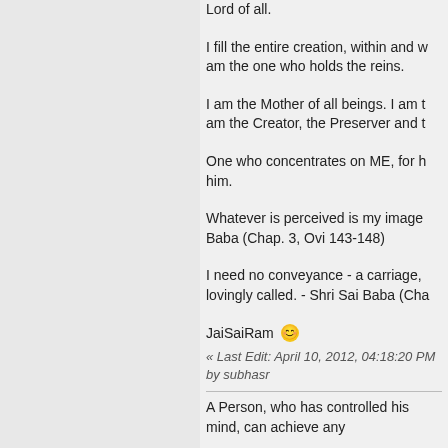Lord of all.
I fill the entire creation, within and w... am the one who holds the reins.
I am the Mother of all beings. I am t... am the Creator, the Preserver and t...
One who concentrates on ME, for h... him.
Whatever is perceived is my image... Baba (Chap. 3, Ovi 143-148)
I need no conveyance - a carriage, ... lovingly called. - Shri Sai Baba (Cha...
JaiSaiRam 😊
« Last Edit: April 10, 2012, 04:18:20 PM by subhasr...
A Person, who has controlled his mind, can achieve any...